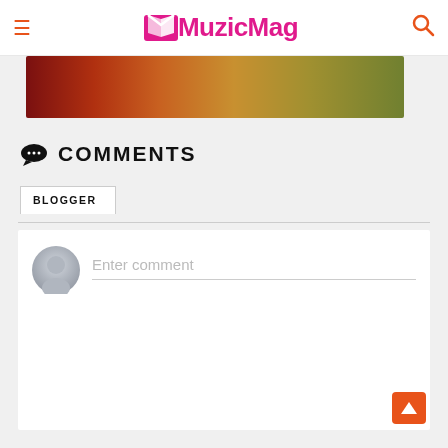MuzicMag
[Figure (photo): Colorful music-related banner image strip with warm red, orange and golden tones]
COMMENTS
BLOGGER
Enter comment